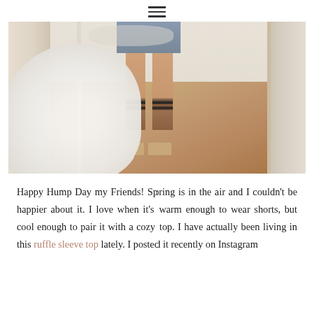≡
[Figure (photo): A mirror selfie showing a person's legs wearing denim cutoff shorts and black slide sandals, standing on a warm-toned hardwood floor. A large fluffy white dog is visible in the lower left of the frame. White curtains frame the edges of the image.]
Happy Hump Day my Friends! Spring is in the air and I couldn't be happier about it. I love when it's warm enough to wear shorts, but cool enough to pair it with a cozy top. I have actually been living in this ruffle sleeve top lately. I posted it recently on Instagram